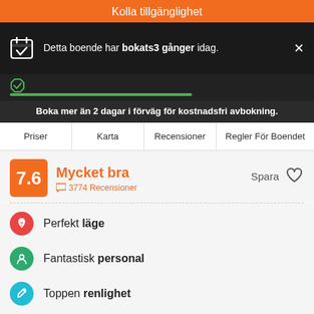Kolla tillgänglighet
Detta boende har bokats3 gånger idag.
Boka mer än 2 dagar i förväg för kostnadsfri avbokning.
Priser
Karta
Recensioner
Regler För Boendet
7.6 Mycket bra 3774 Recensioner
Spara
Perfekt läge
Fantastisk personal
Toppen renlighet
Safestay Gothic is a lovely hostel in the very centre of the city. We're located just 150 metres from the Picasso Museum, only two minutes walk to Las Ramblas.